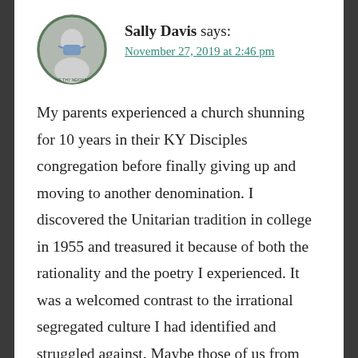Sally Davis says:
November 27, 2019 at 2:46 pm
My parents experienced a church shunning for 10 years in their KY Disciples congregation before finally giving up and moving to another denomination. I discovered the Unitarian tradition in college in 1955 and treasured it because of both the rationality and the poetry I experienced. It was a welcomed contrast to the irrational segregated culture I had identified and struggled against. Maybe those of us from the southern part of the US are more tuned in to what has come to divide us and made us incapable of hearing the perspective of another person as anything but an attack. The good news for me on this day before